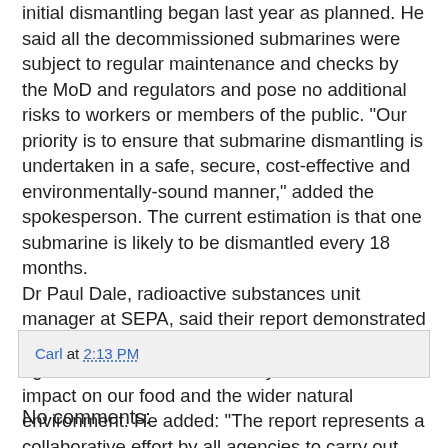initial dismantling began last year as planned. He said all the decommissioned submarines were subject to regular maintenance and checks by the MoD and regulators and pose no additional risks to workers or members of the public. "Our priority is to ensure that submarine dismantling is undertaken in a safe, secure, cost-effective and environmentally-sound manner," added the spokesperson. The current estimation is that one submarine is likely to be dismantled every 18 months. Dr Paul Dale, radioactive substances unit manager at SEPA, said their report demonstrated that Scotland's public was protected adequately against sources of radioactivity which could impact on our food and the wider natural environment. He added: "The report represents a collaborative effort by all agencies to carry out rigorous annual monitoring, to ensure dose levels are well within international limits and the 2016 report confirms that this remains the case."
Carl at 2:13 PM
No comments: